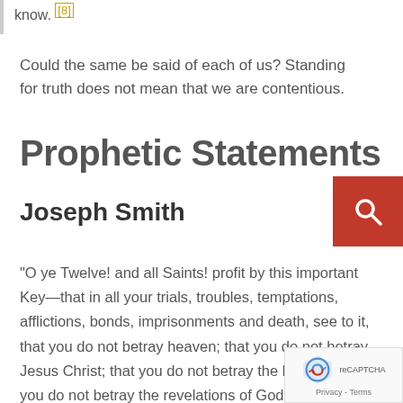know. [8]
Could the same be said of each of us? Standing for truth does not mean that we are contentious.
Prophetic Statements
Joseph Smith
"O ye Twelve! and all Saints! profit by this important Key—that in all your trials, troubles, temptations, afflictions, bonds, imprisonments and death, see to it, that you do not betray heaven; that you do not betray Jesus Christ; that you do not betray the brethren; that you do not betray the revelations of God, whether in Bible, Book of Mormon, Doctrine and Covenants, or any other that ever was or ever